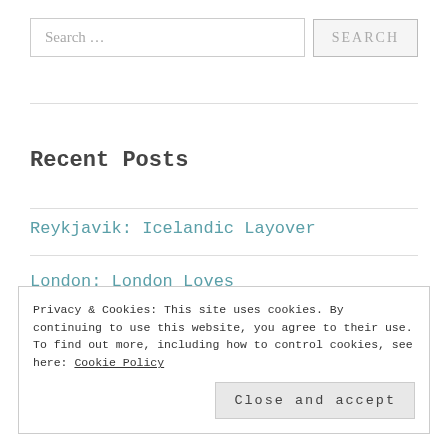Search …
Recent Posts
Reykjavik: Icelandic Layover
London: London Loves
Barcelona: Cooking School
Privacy & Cookies: This site uses cookies. By continuing to use this website, you agree to their use. To find out more, including how to control cookies, see here: Cookie Policy
Close and accept